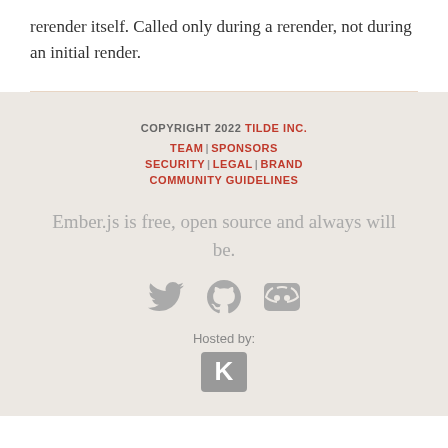rerender itself. Called only during a rerender, not during an initial render.
COPYRIGHT 2022 TILDE INC. | TEAM | SPONSORS | SECURITY | LEGAL | BRAND | COMMUNITY GUIDELINES
Ember.js is free, open source and always will be.
Hosted by: